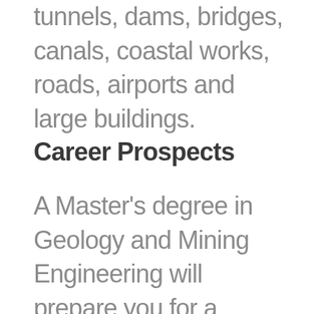tunnels, dams, bridges, canals, coastal works, roads, airports and large buildings.
Career Prospects
A Master's degree in Geology and Mining Engineering will prepare you for a career in mining and aggregate industries or for a terminal